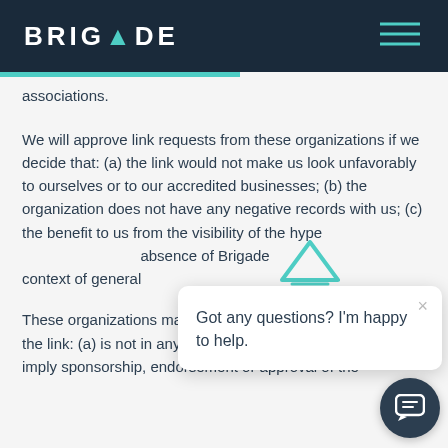BRIGADE
associations.
We will approve link requests from these organizations if we decide that: (a) the link would not make us look unfavorably to ourselves or to our accredited businesses; (b) the organization does not have any negative records with us; (c) the benefit to us from the visibility of the hype... absence of Brigade... context of general...
These organizations may link to our home page so long as the link: (a) is not in any way deceptive; (b) does not falsely imply sponsorship, endorsement or approval of the